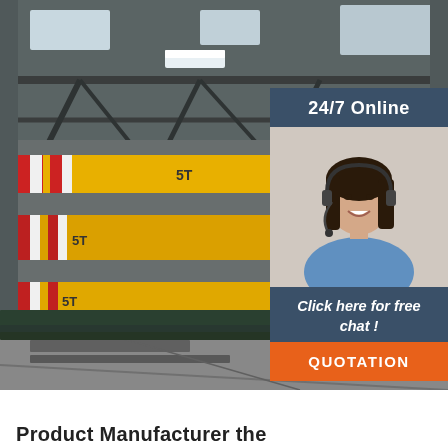[Figure (photo): Industrial warehouse interior with yellow overhead cranes/transfer cars labeled '5T' on rails, steel structure roof with skylights, concrete floor with metal plates in the foreground.]
24/7 Online
[Figure (photo): Woman with dark hair wearing a headset and blue shirt, smiling, customer service representative.]
Click here for free chat !
QUOTATION
Product Manufacturer the